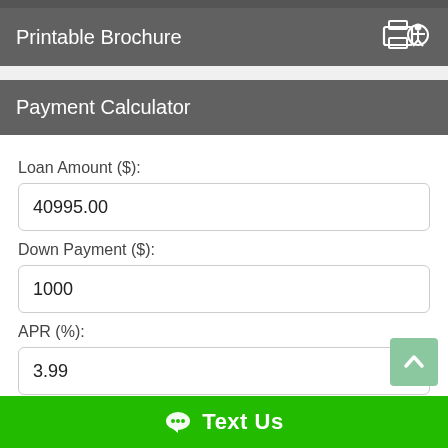Printable Brochure
Payment Calculator
Loan Amount ($):
40995.00
Down Payment ($):
1000
APR (%):
3.99
Term of Loan (Years):
7
Text Us